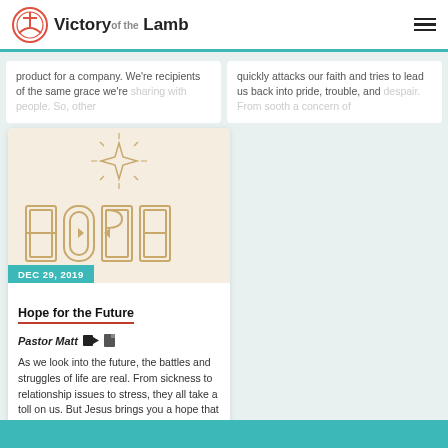Victory of the Lamb
product for a company. We're recipients of the same grace we're sharing with people. So, other
quickly attacks our faith and tries to lead us back into pride, trouble, and despair. From sooth a concern of
[Figure (illustration): HOPE graphic with decorative star/diamond sparkle above the word HOPE in outline lettering on a warm beige background]
DEC 29, 2019
Hope for the Future
Pastor Matt
As we look into the future, the battles and struggles of life are real. From sickness to relationship issues to stress, they all take a toll on us. But Jesus brings you a hope that sets you free from the handcuffs of hurt, from the chains